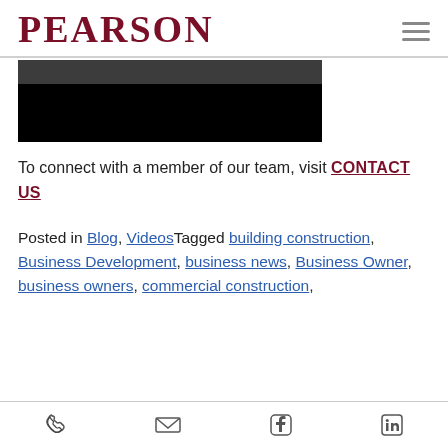PEARSON
[Figure (photo): Partially visible dark image/video thumbnail, mostly black with a faint image at top]
To connect with a member of our team, visit CONTACT US
Posted in Blog, VideosTagged building construction, Business Development, business news, Business Owner, business owners, commercial construction,
Phone | Email | Facebook | LinkedIn